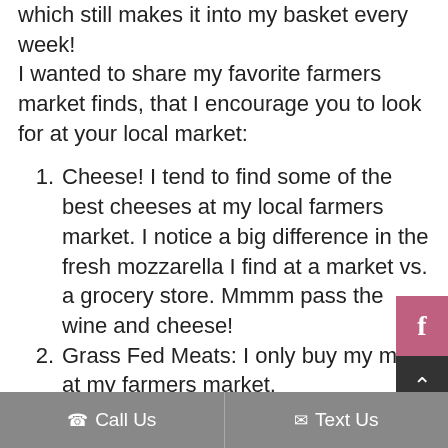which still makes it into my basket every week!
I wanted to share my favorite farmers market finds, that I encourage you to look for at your local market:
Cheese! I tend to find some of the best cheeses at my local farmers market. I notice a big difference in the fresh mozzarella I find at a market vs. a grocery store. Mmmm pass the wine and cheese!
Grass Fed Meats: I only buy my meat at my farmers market.
Call Us   Text Us